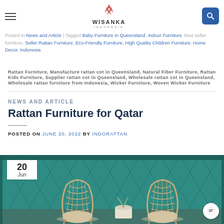Posted in News and Article | Tagged Baby Furniture in Queensland, Indoor Furniture, best seller furniture, Seller Rattan Furniture, Eco-Friendly Furniture, High Quality Children Furniture, Home Decor, Indonesia Rattan Furniture, Manufacture rattan cot in Queensland, Natural Fiber Furniture, Rattan Kids Furniture, Supplier rattan cot in Queensland, Wholesale rattan cot in Queensland, Wholesale rattan furniture from Indonesia, Wicker Furniture, Woven Wicker Furniture
NEWS AND ARTICLE
Rattan Furniture for Qatar
POSTED ON JUNE 20, 2022 BY INDORATTAN
[Figure (photo): Two white rattan/wicker chairs placed outdoors against a teal fence background with potted plants, with a date badge showing '20 Jun' in the top left corner]